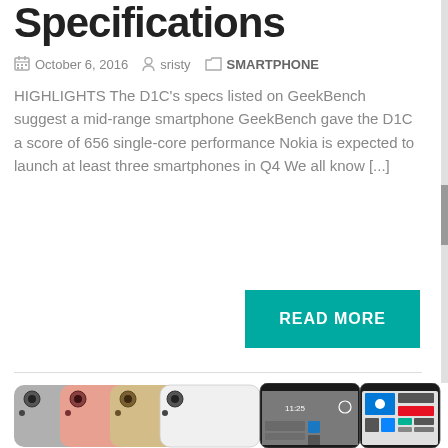Specifications
October 6, 2016   sristy   SMARTPHONE
HIGHLIGHTS The D1C's specs listed on GeekBench suggest a mid-range smartphone GeekBench gave the D1C a score of 656 single-core performance Nokia is expected to launch at least three smartphones in Q4 We all know [...]
READ MORE
[Figure (photo): Nokia D1C smartphones shown in multiple color variants (grey, pink, gold, white) from the back, plus front views showing the Windows 10 Mobile lock screen and home screen.]